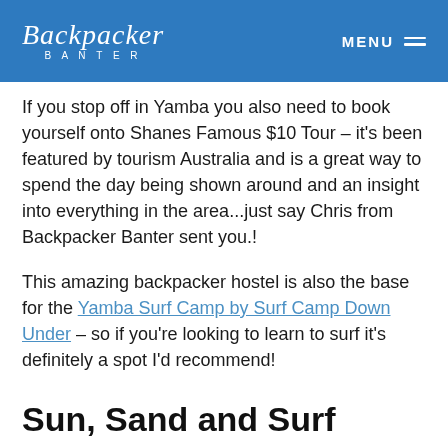Backpacker Banter MENU
If you stop off in Yamba you also need to book yourself onto Shanes Famous $10 Tour – it's been featured by tourism Australia and is a great way to spend the day being shown around and an insight into everything in the area...just say Chris from Backpacker Banter sent you.!
This amazing backpacker hostel is also the base for the Yamba Surf Camp by Surf Camp Down Under – so if you're looking to learn to surf it's definitely a spot I'd recommend!
Sun, Sand and Surf